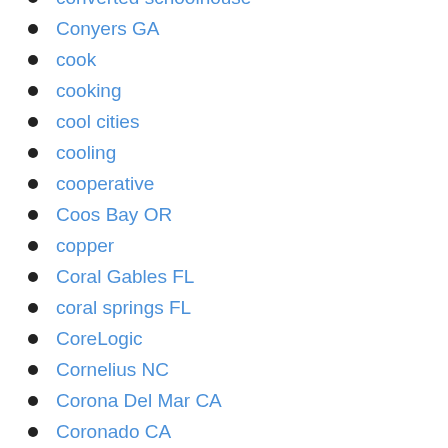converted schoolhouse
Conyers GA
cook
cooking
cool cities
cooling
cooperative
Coos Bay OR
copper
Coral Gables FL
coral springs FL
CoreLogic
Cornelius NC
Corona Del Mar CA
Coronado CA
coronavirus
corporate apartments
Corpus Christi TX